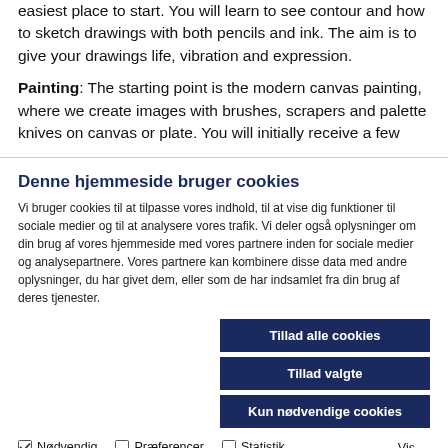easiest place to start. You will learn to see contour and how to sketch drawings with both pencils and ink. The aim is to give your drawings life, vibration and expression.
Painting: The starting point is the modern canvas painting, where we create images with brushes, scrapers and palette knives on canvas or plate. You will initially receive a few
Denne hjemmeside bruger cookies
Vi bruger cookies til at tilpasse vores indhold, til at vise dig funktioner til sociale medier og til at analysere vores trafik. Vi deler også oplysninger om din brug af vores hjemmeside med vores partnere inden for sociale medier og analysepartnere. Vores partnere kan kombinere disse data med andre oplysninger, du har givet dem, eller som de har indsamlet fra din brug af deres tjenester.
Tillad alle cookies
Tillad valgte
Kun nødvendige cookies
Nødvendig  Præferencer  Statistik  Marketing  Vis detaljer